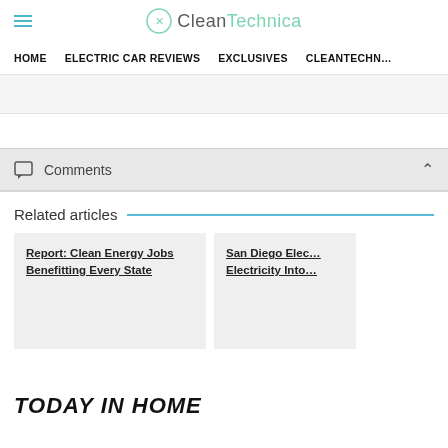CleanTechnica
HOME | ELECTRIC CAR REVIEWS | EXCLUSIVES | CLEANTECHN…
Comments
Related articles
Report: Clean Energy Jobs Benefitting Every State
San Diego Elec… Electricity Into…
TODAY IN HOME